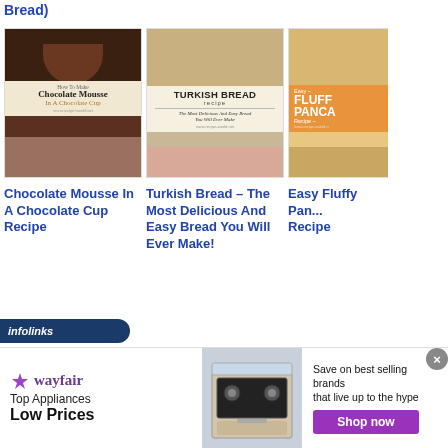Bread)
[Figure (photo): Recipe card image: Chocolate Mousse In A Chocolate Cup with chocolate cup photo and recipe text overlay]
Chocolate Mousse In A Chocolate Cup Recipe
[Figure (photo): Recipe card image: Turkish Bread - The Most Delicious And Easy Bread You Will Ever Make with flatbread photo]
Turkish Bread – The Most Delicious And Easy Bread You Will Ever Make!
[Figure (photo): Recipe card image: Easy Fluffy Pancake Recipe (partially visible), with pancakes and jam photo]
Easy Fluffy Pan... Recipe
[Figure (screenshot): Infolinks advertisement bar at bottom of page]
[Figure (screenshot): Wayfair advertisement banner: Top Appliances Low Prices, Save on best selling brands that live up to the hype, Shop now button, stove image]